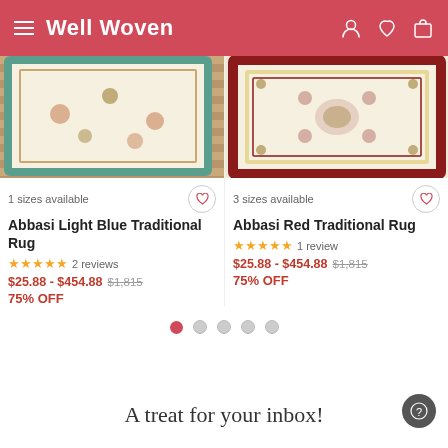Well Woven
[Figure (photo): Abbasi Light Blue Traditional Rug product photo showing a decorative rug with teal/blue border on wooden floor]
1 sizes available
Abbasi Light Blue Traditional Rug
★★★★★ 2 reviews
$25.88 - $454.88 $1,815
75% OFF
[Figure (photo): Abbasi Red Traditional Rug product photo showing a decorative rug with red and cream ornate border pattern]
3 sizes available
Abbasi Red Traditional Rug
★★★★★ 1 review
$25.88 - $454.88 $1,815
75% OFF
A treat for your inbox!